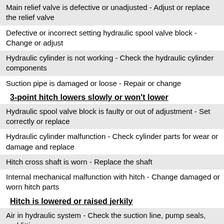Main relief valve is defective or unadjusted - Adjust or replace the relief valve
Defective or incorrect setting hydraulic spool valve block - Change or adjust
Hydraulic cylinder is not working - Check the hydraulic cylinder components
Suction pipe is damaged or loose - Repair or change
3-point hitch lowers slowly or won't lower
Hydraulic spool valve block is faulty or out of adjustment - Set correctly or replace
Hydraulic cylinder malfunction - Check cylinder parts for wear or damage and replace
Hitch cross shaft is worn - Replace the shaft
Internal mechanical malfunction with hitch - Change damaged or worn hitch parts
Hitch is lowered or raised jerkily
Air in hydraulic system - Check the suction line, pump seals, and fittings
Hydraulic oil is contaminated - Fill up with fresh hydraulic oil
Hydraulic pump not working - Test pump flow rate and replace pump if required
Hydraulic control valve is not set properly or defective - Replace or adjust control valve
Hydraulic cylinder failure - Inspect cylinder parts for wear or damage and replace
STEERING SYSTEM TROUBLESHOOTING
Hard Steering
Steering column is defective or improperly assembled - Change steering column
Air enters in steering system - Air-bleed steering system
Dirty steering filter - Change steering filter element